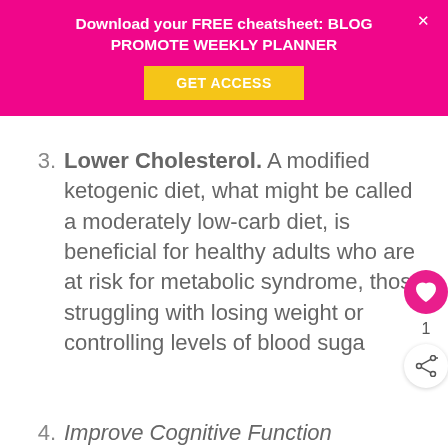Download your FREE cheatsheet: BLOG PROMOTE WEEKLY PLANNER
3. Lower Cholesterol. A modified ketogenic diet, what might be called a moderately low-carb diet, is beneficial for healthy adults who are at risk for metabolic syndrome, those struggling with losing weight or controlling levels of blood suga
4. Improve Cognitive Function